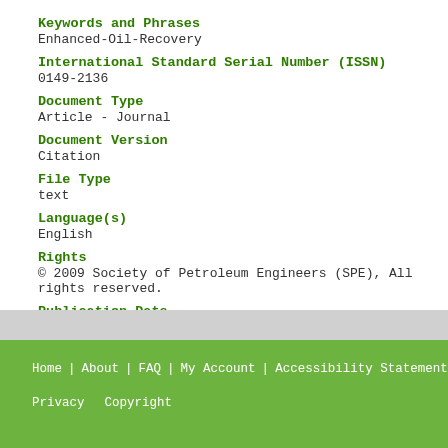Keywords and Phrases
Enhanced-Oil-Recovery
International Standard Serial Number (ISSN)
0149-2136
Document Type
Article - Journal
Document Version
Citation
File Type
text
Language(s)
English
Rights
© 2009 Society of Petroleum Engineers (SPE), All rights reserved.
Publication Date
01 Jan 2009
Home | About | FAQ | My Account | Accessibility Statement Privacy Copyright